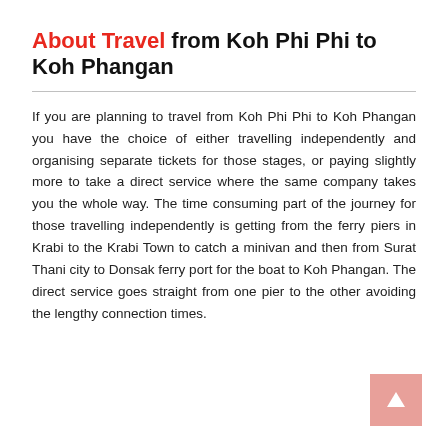About Travel from Koh Phi Phi to Koh Phangan
If you are planning to travel from Koh Phi Phi to Koh Phangan you have the choice of either travelling independently and organising separate tickets for those stages, or paying slightly more to take a direct service where the same company takes you the whole way. The time consuming part of the journey for those travelling independently is getting from the ferry piers in Krabi to the Krabi Town to catch a minivan and then from Surat Thani city to Donsak ferry port for the boat to Koh Phangan. The direct service goes straight from one pier to the other avoiding the lengthy connection times.